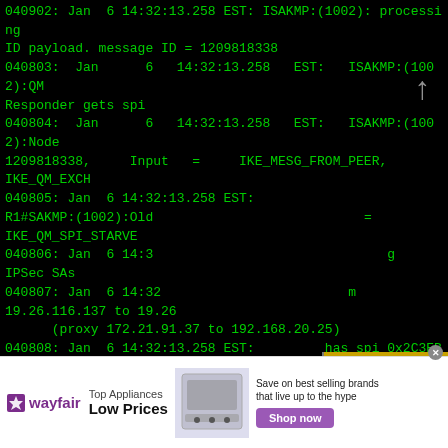040902: Jan  6 14:32:13.258 EST: ISAKMP:(1002): processing ID payload. message ID = 1209818338
040803:  Jan      6   14:32:13.258   EST:   ISAKMP:(1002):QM Responder gets spi
040804:  Jan      6   14:32:13.258   EST:   ISAKMP:(1002):Node 1209818338,   Input   =   IKE_MESG_FROM_PEER, IKE_QM_EXCH
040805: Jan  6 14:32:13.258 EST: R1#SAKMP:(1002):Old State = IKE_QM_SPI_STARVE
040806: Jan  6 14:3                                                    og IPSec SAs
040807: Jan  6 14:32            m 19.26.116.137 to 19.26   (proxy 172.21.91.37 to 192.168.20.25)
040808: Jan  6 14:32:13.258 EST:          has spi 0x2C3EB4EE
[Figure (screenshot): Video popup overlay showing 'VPN LAB @ HOME PART 2 - CONFIG IPSEC VPN' with Fortinet and Palo Alto logos, and a 'No compatible source was found for this media.' error message with an X circle icon.]
[Figure (screenshot): Wayfair advertisement banner: 'Top Appliances Low Prices' with image of a stove/range appliance, and 'Save on best selling brands that live up to the hype' with a purple 'Shop now' button.]